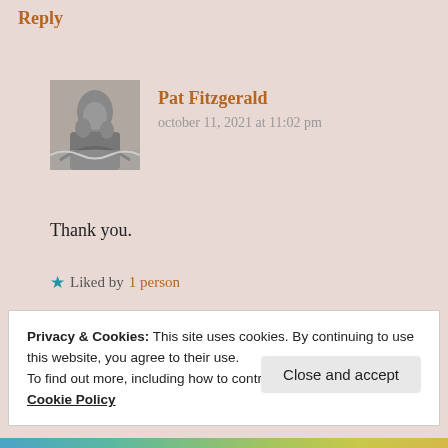Reply
Pat Fitzgerald
october 11, 2021 at 11:02 pm
[Figure (photo): Black and white avatar photo of Pat Fitzgerald, appears to show a person near water]
Thank you.
★ Liked by 1 person
Reply
Privacy & Cookies: This site uses cookies. By continuing to use this website, you agree to their use.
To find out more, including how to control cookies, see here: Cookie Policy
Close and accept